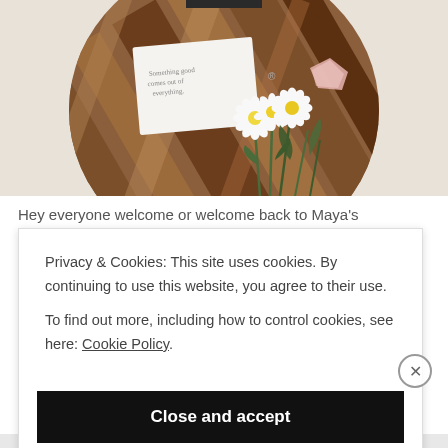[Figure (photo): Overhead photo of a round wooden cutting board on a white linen background, with a small card, a pink crystal, and white daisy flowers arranged on it. A black mug is partially visible at the top.]
Hey everyone welcome or welcome back to Maya's
Privacy & Cookies: This site uses cookies. By continuing to use this website, you agree to their use. To find out more, including how to control cookies, see here: Cookie Policy
Close and accept